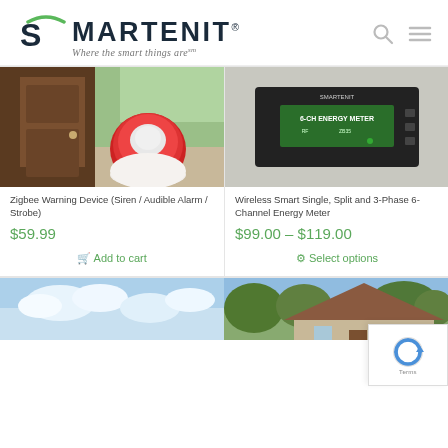[Figure (logo): Smartenit logo with arc icon above S, text SMARTENIT in dark navy, tagline 'Where the smart things are' in italic serif, search and hamburger menu icons on right]
[Figure (photo): Red circular Zigbee warning device / siren / strobe on a door background]
[Figure (photo): Black 6-channel energy meter device with green label reading 6-CH ENERGY METER]
Zigbee Warning Device (Siren / Audible Alarm / Strobe)
$59.99
Add to cart
Wireless Smart Single, Split and 3-Phase 6-Channel Energy Meter
$99.00 – $119.00
Select options
[Figure (photo): Sky with clouds, partial view of product thumbnail]
[Figure (photo): House exterior with roof visible, partial view]
[Figure (other): reCAPTCHA widget overlay in bottom right corner showing reCAPTCHA logo and Terms link]